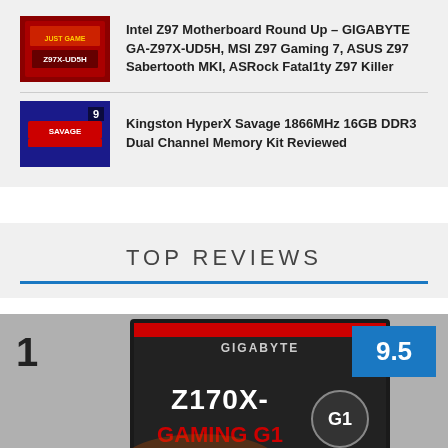[Figure (photo): Thumbnail image of Intel Z97 Motherboard with yellow/red packaging]
Intel Z97 Motherboard Round Up – GIGABYTE GA-Z97X-UD5H, MSI Z97 Gaming 7, ASUS Z97 Sabertooth MKI, ASRock Fatal1ty Z97 Killer
[Figure (photo): Thumbnail image of Kingston HyperX Savage red DDR3 memory kit, badge showing number 9]
Kingston HyperX Savage 1866MHz 16GB DDR3 Dual Channel Memory Kit Reviewed
TOP REVIEWS
[Figure (photo): Large product image of GIGABYTE Z170X-Gaming G1 motherboard box, rank 1 and score 9.5]